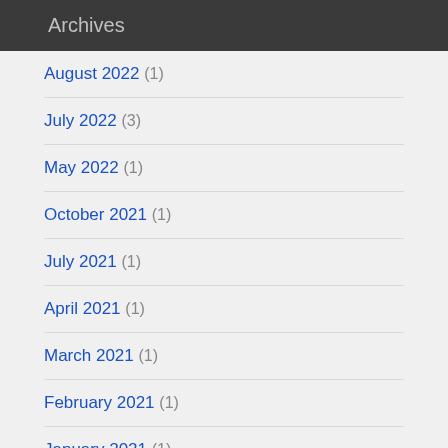Archives
August 2022 (1)
July 2022 (3)
May 2022 (1)
October 2021 (1)
July 2021 (1)
April 2021 (1)
March 2021 (1)
February 2021 (1)
January 2021 (1)